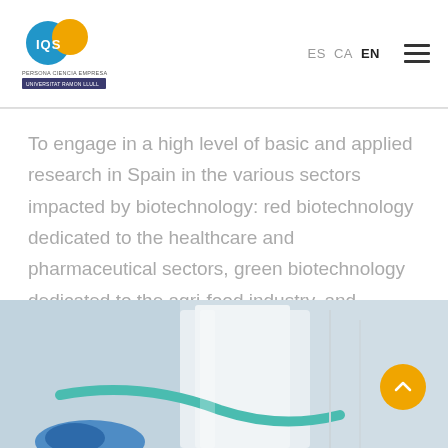IQS — Persona Ciencia Empresa, Universitat Ramon Llull — Navigation: ES CA EN
To engage in a high level of basic and applied research in Spain in the various sectors impacted by biotechnology: red biotechnology dedicated to the healthcare and pharmaceutical sectors, green biotechnology dedicated to the agri-food industry, and industrial biotechnology.
[Figure (photo): Close-up photograph of laboratory equipment, showing a blue gloved hand holding a pipette or similar instrument near laboratory glassware with a light/white background.]